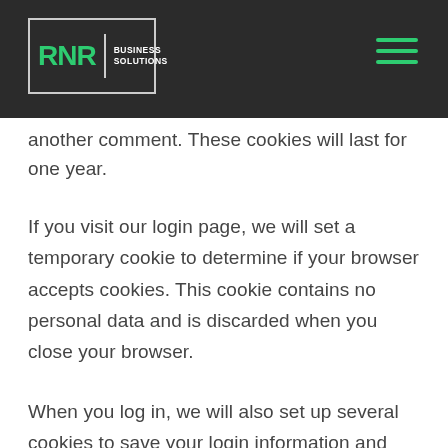RNR BUSINESS SOLUTIONS
another comment. These cookies will last for one year.
If you visit our login page, we will set a temporary cookie to determine if your browser accepts cookies. This cookie contains no personal data and is discarded when you close your browser.
When you log in, we will also set up several cookies to save your login information and your screen display choices. Login cookies last for two days, and screen options cookies last for a year. If you select “Remember